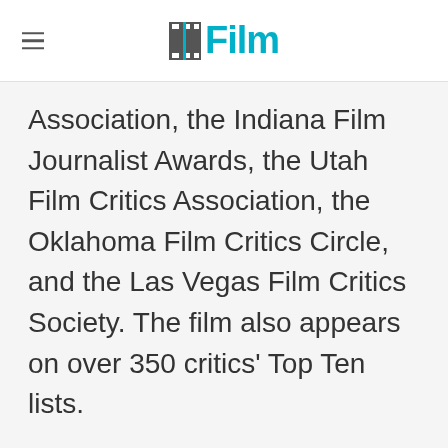/Film
Association, the Indiana Film Journalist Awards, the Utah Film Critics Association, the Oklahoma Film Critics Circle, and the Las Vegas Film Critics Society. The film also appears on over 350 critics' Top Ten lists.